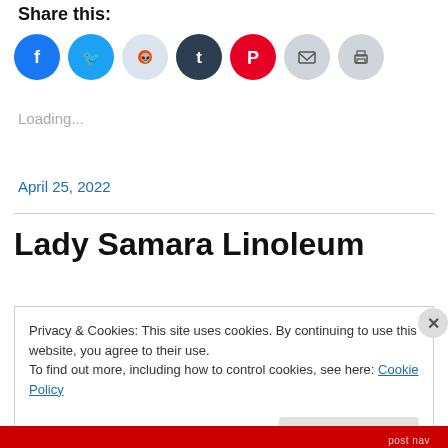Share this:
[Figure (illustration): Row of social media share icons: Facebook (blue circle), Twitter (light blue circle), Reddit (light gray circle), Tumblr (dark navy circle), Pinterest (red circle), Email (light gray circle), Print (light gray circle)]
Loading...
April 25, 2022
Lady Samara Linoleum
Privacy & Cookies: This site uses cookies. By continuing to use this website, you agree to their use.
To find out more, including how to control cookies, see here: Cookie Policy
Close and accept